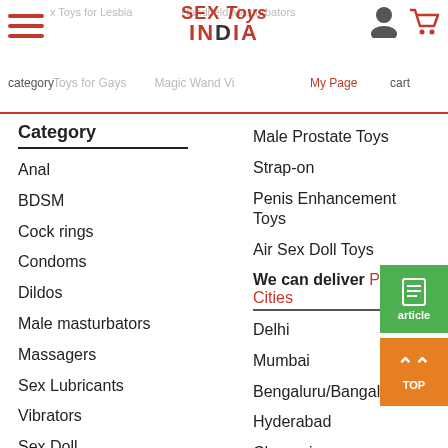SEX Toys INDIA — category, Toys for Gays, Handheld Masturbators, Magic Wand Vibrators, My Page, cart
Category
Anal
BDSM
Cock rings
Condoms
Dildos
Male masturbators
Massagers
Sex Lubricants
Vibrators
Sex Doll
Adult sex game
Male Prostate Toys
Strap-on
Penis Enhancement Toys
Air Sex Doll Toys
We can deliver Popular Cities
Delhi
Mumbai
Bengaluru/Bangalore
Hyderabad
Chennai
Kolkata/Calcutta